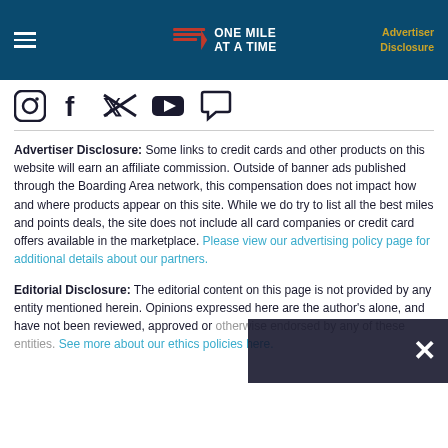ONE MILE AT A TIME | Advertiser Disclosure
[Figure (illustration): Social media icons: Instagram, Facebook, Twitter, YouTube, Chat]
Advertiser Disclosure: Some links to credit cards and other products on this website will earn an affiliate commission. Outside of banner ads published through the Boarding Area network, this compensation does not impact how and where products appear on this site. While we do try to list all the best miles and points deals, the site does not include all card companies or credit card offers available in the marketplace. Please view our advertising policy page for additional details about our partners.
Editorial Disclosure: The editorial content on this page is not provided by any entity mentioned herein. Opinions expressed here are the author's alone, and have not been reviewed, approved or otherwise endorsed by any of these entities. See more about our ethics policies here.